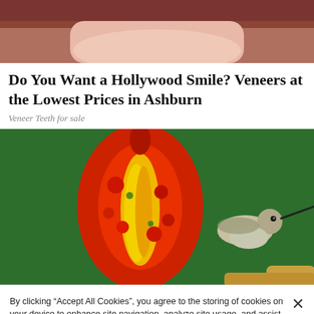[Figure (photo): Partial photo of a person's lower face/chin area, cropped at top of page]
Do You Want a Hollywood Smile? Veneers at the Lowest Prices in Ashburn
Veneer Teeth for sale
[Figure (photo): A hummingbird facing a colorful red and yellow glass art piece against a green background]
By clicking “Accept All Cookies”, you agree to the storing of cookies on your device to enhance site navigation, analyze site usage, and assist in our marketing efforts.
Cookies Settings
Accept All Cookies